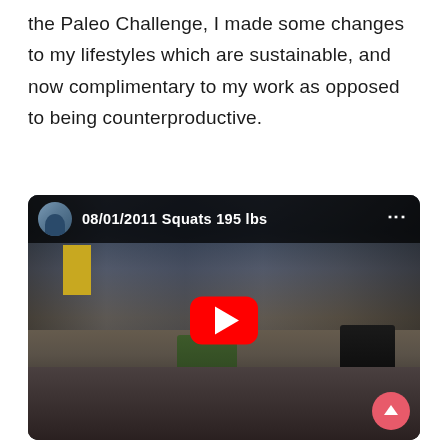the Paleo Challenge, I made some changes to my lifestyles which are sustainable, and now complimentary to my work as opposed to being counterproductive.
[Figure (screenshot): YouTube video thumbnail showing a gym scene with a man doing a barbell squat with 195 lbs. The video title reads '08/01/2011 Squats 195 lbs'. A red YouTube play button is overlaid in the center. A person in black is visible on the left side. Weight plates and squat rack are visible in the background.]